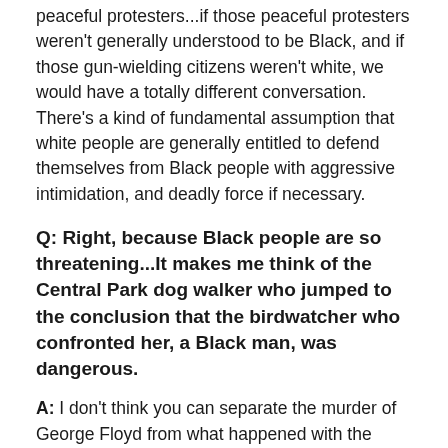peaceful protesters...if those peaceful protesters weren't generally understood to be Black, and if those gun-wielding citizens weren't white, we would have a totally different conversation. There's a kind of fundamental assumption that white people are generally entitled to defend themselves from Black people with aggressive intimidation, and deadly force if necessary.
Q: Right, because Black people are so threatening...It makes me think of the Central Park dog walker who jumped to the conclusion that the birdwatcher who confronted her, a Black man, was dangerous.
A: I don't think you can separate the murder of George Floyd from what happened with the Central Park birder days before. The funny thing is, I think she was an actuarian or risk assessor, which makes sense, because very quickly she made the assessment that she could call the police on this guy. And they would believe her, and therefore she wouldn't have to follow the leash laws in